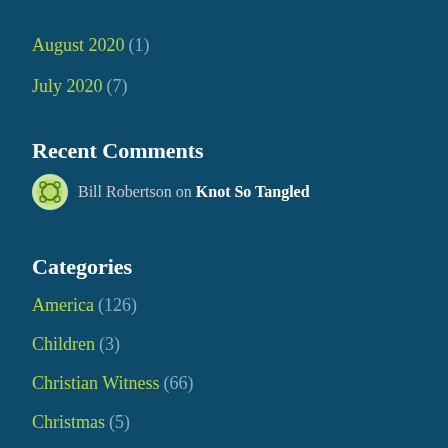August 2020 (1)
July 2020 (7)
Recent Comments
Bill Robertson on Knot So Tangled
Categories
America (126)
Children (3)
Christian Witness (66)
Christmas (5)
Community (39)
Contentment (5)